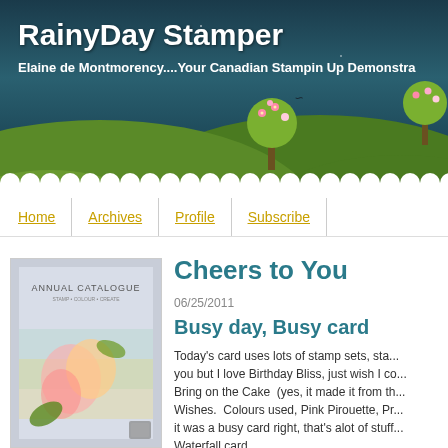[Figure (illustration): Blog header banner with dark teal night sky background, green rolling hills, decorative trees with flowers, and a bird silhouette]
RainyDay Stamper
Elaine de Montmorency....Your Canadian Stampin Up Demonstra
Home | Archives | Profile | Subscribe
[Figure (photo): Annual Catalogue cover showing floral stamp artwork on a light blue-grey background]
Cheers to You
06/25/2011
Busy day, Busy card
Today's card uses lots of stamp sets, sta... you but I love Birthday Bliss, just wish I co... Bring on the Cake  (yes, it made it from th... Wishes.  Colours used, Pink Pirouette, Pr... it was a busy card right, that's alot of stuff... Waterfall card.